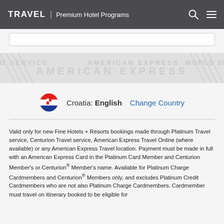TRAVEL | Premium Hotel Programs
[Figure (illustration): American Express watermark banner with 'WORLD SERVICE' and 'AMERICAN EXPRESS' text pattern in light gray on a slightly darker gray background]
Croatia: English   Change Country
Valid only for new Fine Hotels + Resorts bookings made through Platinum Travel service, Centurion Travel service, American Express Travel Online (where available) or any American Express Travel location. Payment must be made in full with an American Express Card in the Platinum Card Member and Centurion Member's or Centurion® Member's name. Available for Platinum Charge Cardmembers and Centurion® Members only, and excludes Platinum Credit Cardmembers who are not also Platinum Charge Cardmembers. Cardmember must travel on itinerary booked to be eligible for